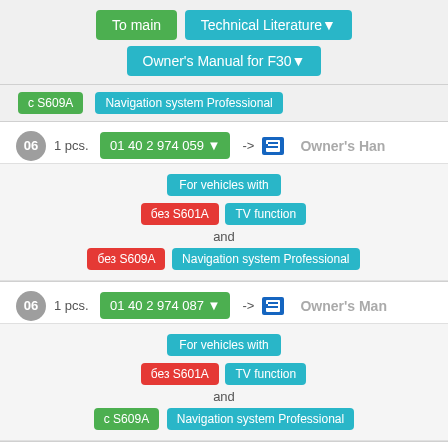[Figure (screenshot): Navigation buttons: 'To main' (green) and 'Technical Literature' (cyan dropdown)]
[Figure (screenshot): Dropdown: 'Owner's Manual for F30' cyan button]
c S609A  Navigation system Professional
06  1 pcs.  01 40 2 974 059  ->  Owner's Han
For vehicles with без S601A TV function and без S609A Navigation system Professional
06  1 pcs.  01 40 2 974 087  ->  Owner's Man
For vehicles with без S601A TV function and c S609A Navigation system Professional
06  1 pcs.  01 40 2 977 940  ->  Owner's Han
Copyright © 2020 · BMW.etk.CLUB